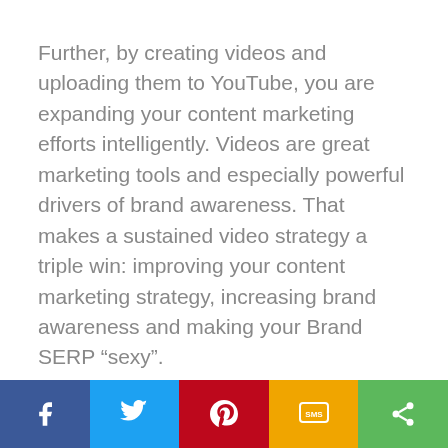Further, by creating videos and uploading them to YouTube, you are expanding your content marketing efforts intelligently. Videos are great marketing tools and especially powerful drivers of brand awareness. That makes a sustained video strategy a triple win: improving your content marketing strategy, increasing brand awareness and making your Brand SERP “sexy”.
Learn how to get Video Boxes on your Brand SERP with the Kalicube Academy.
[Figure (other): Social sharing bar with Facebook, Twitter, Pinterest, SMS, and Share buttons]